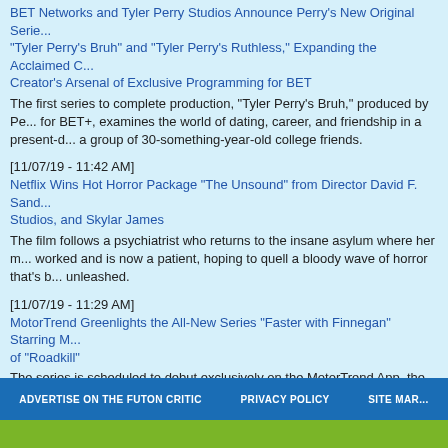BET Networks and Tyler Perry Studios Announce Perry's New Original Series "Tyler Perry's Bruh" and "Tyler Perry's Ruthless," Expanding the Acclaimed Creator's Arsenal of Exclusive Programming for BET
The first series to complete production, "Tyler Perry's Bruh," produced by Perry for BET+, examines the world of dating, career, and friendship in a present-day a group of 30-something-year-old college friends.
[11/07/19 - 11:42 AM]
Netflix Wins Hot Horror Package "The Unsound" from Director David F. Sandberg Studios, and Skylar James
The film follows a psychiatrist who returns to the insane asylum where her mother worked and is now a patient, hoping to quell a bloody wave of horror that's been unleashed.
[11/07/19 - 11:29 AM]
MotorTrend Greenlights the All-New Series "Faster with Finnegan" Starring M of "Roadkill"
The series is scheduled to debut exclusively on the MotorTrend App, the only streaming service dedicated entirely to the motoring world, in first quarter 20 produced by MotorTrend Studios.
next page of results >>
ADVERTISE ON THE FUTON CRITIC   PRIVACY POLICY   SITE MAP